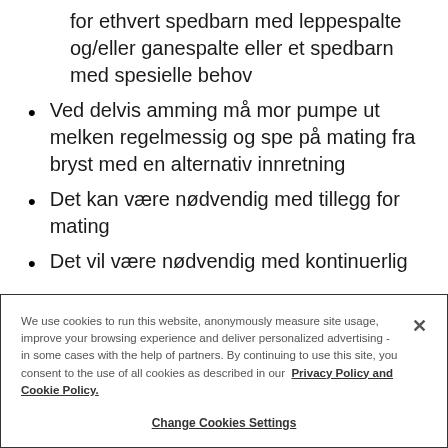Pammingen. Ulike tilninger kan være til hjelp for ethvert spedbarn med leppespalte og/eller ganespalte eller et spedbarn med spesielle behov
Ved delvis amming må mor pumpe ut melken regelmessig og spe på mating fra bryst med en alternativ innretning
Det kan være nødvendig med tillegg for mating
Det vil være nødvendig med kontinuerlig...
We use cookies to run this website, anonymously measure site usage, improve your browsing experience and deliver personalized advertising - in some cases with the help of partners. By continuing to use this site, you consent to the use of all cookies as described in our Privacy Policy and Cookie Policy.
Change Cookies Settings